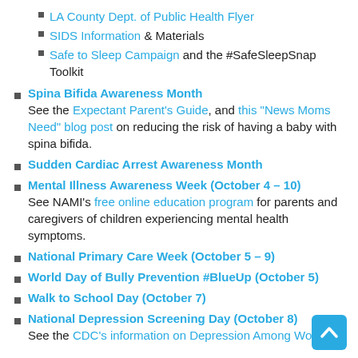LA County Dept. of Public Health Flyer
SIDS Information & Materials
Safe to Sleep Campaign and the #SafeSleepSnap Toolkit
Spina Bifida Awareness Month — See the Expectant Parent's Guide, and this "News Moms Need" blog post on reducing the risk of having a baby with spina bifida.
Sudden Cardiac Arrest Awareness Month
Mental Illness Awareness Week (October 4 – 10) — See NAMI's free online education program for parents and caregivers of children experiencing mental health symptoms.
National Primary Care Week (October 5 – 9)
World Day of Bully Prevention #BlueUp (October 5)
Walk to School Day (October 7)
National Depression Screening Day (October 8) — See the CDC's information on Depression Among Women